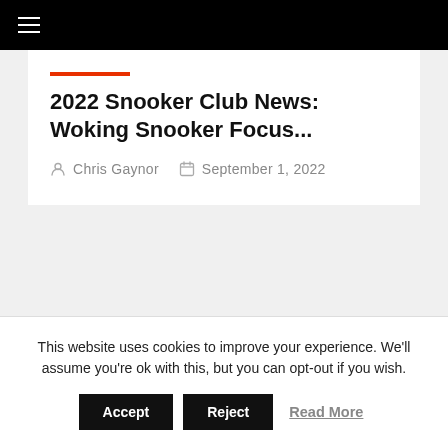≡
2022 Snooker Club News: Woking Snooker Focus...
Chris Gaynor   September 1, 2022
This website uses cookies to improve your experience. We'll assume you're ok with this, but you can opt-out if you wish.
Accept   Reject   Read More